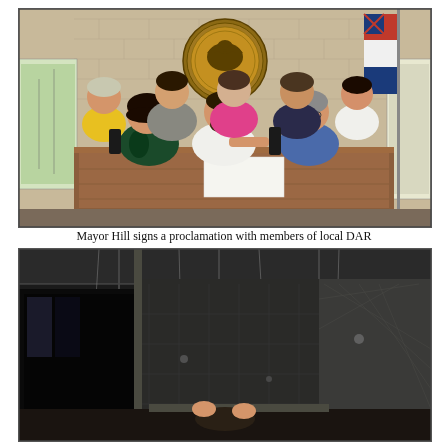[Figure (photo): Group photo of Mayor Hill signing a proclamation at a desk with members of local DAR. Three people are seated at a wooden desk (a woman on the left, a man in white shirt signing a document in the center, a woman in blue on the right), with five women standing behind them. A state seal is on the wall and a Mississippi state flag is in the background.]
Mayor Hill signs a proclamation with members of local DAR
[Figure (photo): Interior photo of what appears to be a building or warehouse space, partially dark, showing structural elements and walls.]